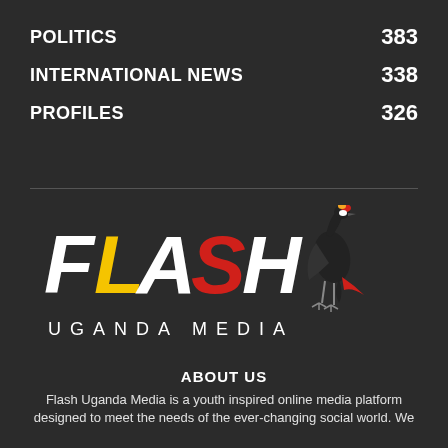POLITICS  383
INTERNATIONAL NEWS  338
PROFILES  326
[Figure (logo): Flash Uganda Media logo with stylized bold 'FLASH' lettering in white, yellow (L) and red (S), accompanied by a grey crowned crane bird illustration, and 'UGANDA MEDIA' text below in wide spaced letters]
ABOUT US
Flash Uganda Media is a youth inspired online media platform designed to meet the needs of the ever-changing social world. We